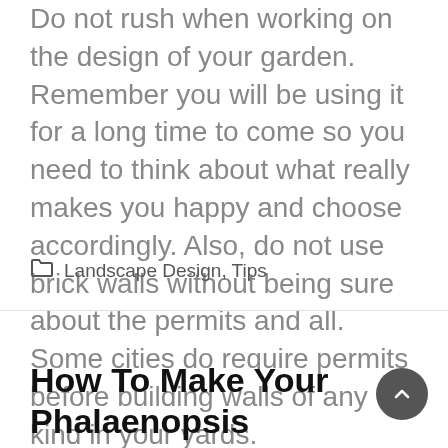Do not rush when working on the design of your garden. Remember you will be using it for a long time to come so you need to think about what really makes you happy and choose accordingly. Also, do not use brick walls without being sure about the permits and all. Some cities do require permits before building walls of any kind in your yards.
Landscape Design, Tips
How To Make Your Phalaenopsis Orchids Flower Again And Again